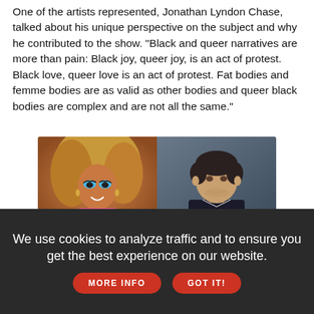One of the artists represented, Jonathan Lyndon Chase, talked about his unique perspective on the subject and why he contributed to the show. "Black and queer narratives are more than pain: Black joy, queer joy, is an act of protest. Black love, queer love is an act of protest. Fat bodies and femme bodies are as valid as other bodies and queer black bodies are complex and are not all the same."
[Figure (infographic): LGBTQ Nation advertisement featuring two people (a drag performer on the left and a man on the right), with text: LGBTQ NATION AUTHENTIC VOICES OF PRIDE LGBTQ SMALL TOWN LIFE, CHEVROLET, Learn More button]
We use cookies to analyze traffic and to ensure you get the best experience on our website. MORE INFO GOT IT!